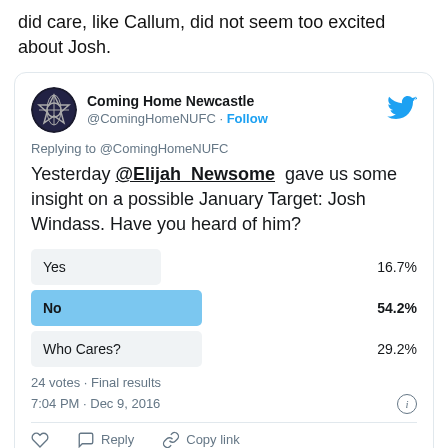did care, like Callum, did not seem too excited about Josh.
[Figure (screenshot): Embedded tweet from @ComingHomeNUFC showing a Twitter poll asking 'Yesterday @Elijah_Newsome gave us some insight on a possible January Target: Josh Windass. Have you heard of him?' with results: Yes 16.7%, No 54.2%, Who Cares? 29.2%. 24 votes · Final results. Posted 7:04 PM · Dec 9, 2016.]